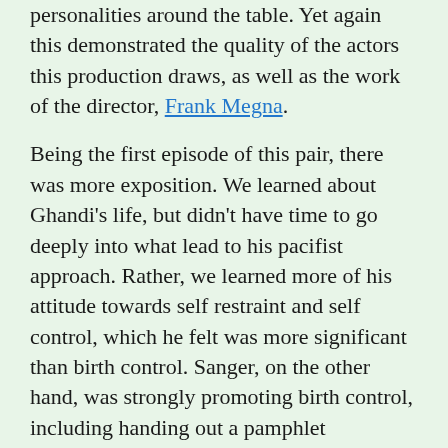personalities around the table. Yet again this demonstrated the quality of the actors this production draws, as well as the work of the director, Frank Megna.
Being the first episode of this pair, there was more exposition. We learned about Ghandi's life, but didn't have time to go deeply into what lead to his pacifist approach. Rather, we learned more of his attitude towards self restraint and self control, which he felt was more significant than birth control. Sanger, on the other hand, was strongly promoting birth control, including handing out a pamphlet enumerating the seven cases where she felt that birth control was needed: (1) the husband or wife has transmittable diseases (e.g., epilepsy, syphilis, or certain forms of insanity; (2) the wife suffers from afflictions of the lungs, heart, or kidneys if a cure is retarded by pregnancy; (3) parents have subnormal children; (4) husband, wife, or both are teenagers; (5) husband's earnings are insufficient; (6) births should be spaced two or three years apart for the mother's health on